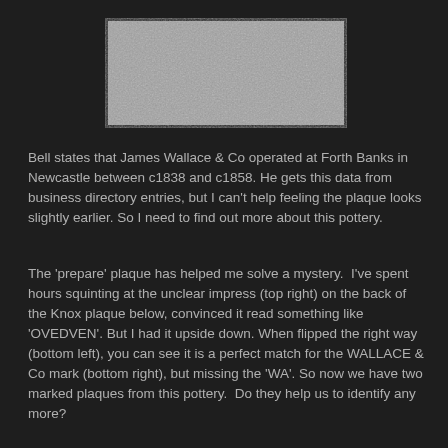[Figure (photo): A rectangular image placeholder showing a grey/silver textured surface, likely a ceramic plaque or tile, with a dark border frame.]
Bell states that James Wallace & Co operated at Forth Banks in Newcastle between c1838 and c1858. He gets this data from business directory entries, but I can't help feeling the plaque looks slightly earlier. So I need to find out more about this pottery.
The 'prepare' plaque has helped me solve a mystery.  I've spent hours squinting at the unclear impress (top right) on the back of the Knox plaque below, convinced it read something like 'OVEDVEN'. But I had it upside down. When flipped the right way (bottom left), you can see it is a perfect match for the WALLACE & Co mark (bottom right), but missing the 'WA'. So now we have two marked plaques from this pottery.  Do they help us to identify any more?